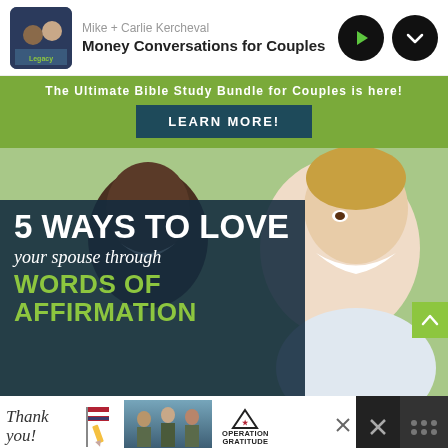Mike + Carlie Kercheval — Money Conversations for Couples
The Ultimate Bible Study Bundle for Couples is here!
LEARN MORE!
[Figure (photo): Two smiling people (a Black man and a white woman) close-up, happy expressions, outdoor background]
5 WAYS TO LOVE your spouse through WORDS OF AFFIRMATION
[Figure (photo): Operation Gratitude advertisement banner with thank you note, soldier image, and Operation Gratitude logo]